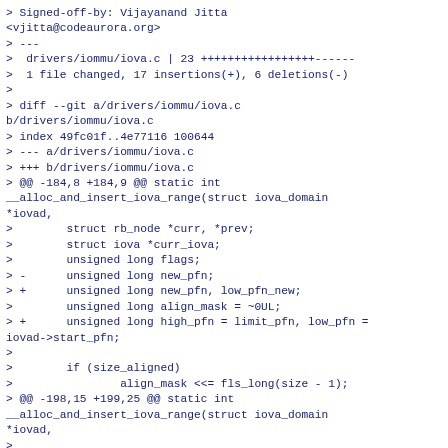> Signed-off-by: Vijayanand Jitta <vjitta@codeaurora.org>
> ---
>  drivers/iommu/iova.c | 23 +++++++++++++++++------
>  1 file changed, 17 insertions(+), 6 deletions(-)
>
> diff --git a/drivers/iommu/iova.c b/drivers/iommu/iova.c
> index 49fc01f..4e77116 100644
> --- a/drivers/iommu/iova.c
> +++ b/drivers/iommu/iova.c
> @@ -184,8 +184,9 @@ static int __alloc_and_insert_iova_range(struct iova_domain *iovad,
>        struct rb_node *curr, *prev;
>        struct iova *curr_iova;
>        unsigned long flags;
> -      unsigned long new_pfn;
> +      unsigned long new_pfn, low_pfn_new;
>        unsigned long align_mask = ~0UL;
> +      unsigned long high_pfn = limit_pfn, low_pfn = iovad->start_pfn;
>
>        if (size_aligned)
>                align_mask <<= fls_long(size - 1);
> @@ -198,15 +199,25 @@ static int __alloc_and_insert_iova_range(struct iova_domain *iovad,
>
>        curr = __get_cached_rbnode(iovad, limit_pfn);